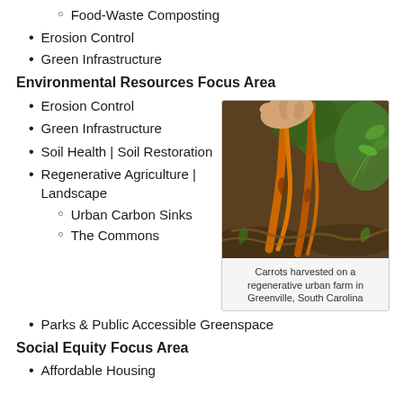Food-Waste Composting
Erosion Control
Green Infrastructure
Environmental Resources Focus Area
Erosion Control
Green Infrastructure
Soil Health | Soil Restoration
Regenerative Agriculture | Landscape
Urban Carbon Sinks
The Commons
[Figure (photo): Hand pulling carrots from soil on a regenerative urban farm, surrounded by green plants and organic mulch.]
Carrots harvested on a regenerative urban farm in Greenville, South Carolina
Parks & Public Accessible Greenspace
Social Equity Focus Area
Affordable Housing